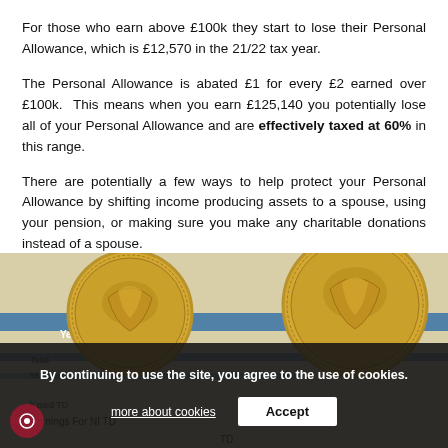For those who earn above £100k they start to lose their Personal Allowance, which is £12,570 in the 21/22 tax year.
The Personal Allowance is abated £1 for every £2 earned over £100k. This means when you earn £125,140 you potentially lose all of your Personal Allowance and are effectively taxed at 60% in this range.
There are potentially a few ways to help protect your Personal Allowance by shifting income producing assets to a spouse, using your pension, or making sure you make any charitable donations instead of a spouse.
[Figure (photo): Photo of two gold British pound coins on what appears to be a tax document or payslip, with text visible including 'Year', 'Total', 'ss for', 'k paid TD', 'Earnings For NI TD', and 'TD'. A dark semi-transparent cookie consent overlay appears over the lower portion of the image.]